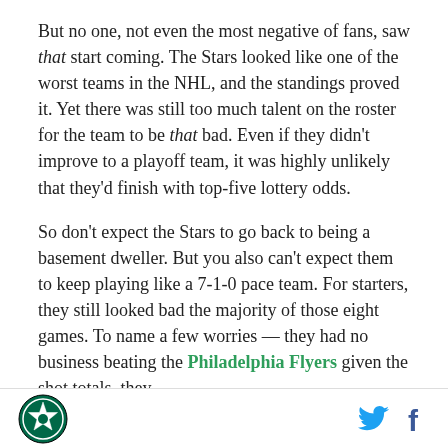But no one, not even the most negative of fans, saw that start coming. The Stars looked like one of the worst teams in the NHL, and the standings proved it. Yet there was still too much talent on the roster for the team to be that bad. Even if they didn't improve to a playoff team, it was highly unlikely that they'd finish with top-five lottery odds.
So don't expect the Stars to go back to being a basement dweller. But you also can't expect them to keep playing like a 7-1-0 pace team. For starters, they still looked bad the majority of those eight games. To name a few worries — they had no business beating the Philadelphia Flyers given the shot totals, they
Dallas Stars logo | Twitter icon | Facebook icon